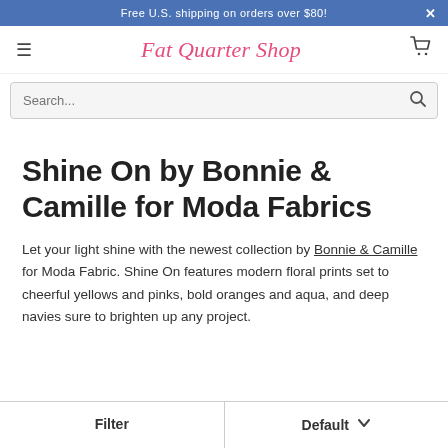Free U.S. shipping on orders over $80!
[Figure (logo): Fat Quarter Shop logo with hamburger menu icon on left and shopping cart icon on right]
Search...
Shine On by Bonnie & Camille for Moda Fabrics
Let your light shine with the newest collection by Bonnie & Camille for Moda Fabric. Shine On features modern floral prints set to cheerful yellows and pinks, bold oranges and aqua, and deep navies sure to brighten up any project.
Filter | Default